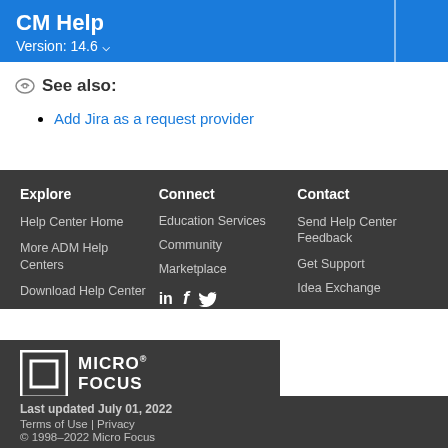CM Help Version: 14.6
See also:
Add Jira as a request provider
Explore
Help Center Home
More ADM Help Centers
Download Help Center
Connect
Education Services
Community
Marketplace
Contact
Send Help Center Feedback
Get Support
Idea Exchange
[Figure (logo): Micro Focus logo with square icon and text]
Last updated July 01, 2022
Terms of Use | Privacy
© 1998–2022 Micro Focus